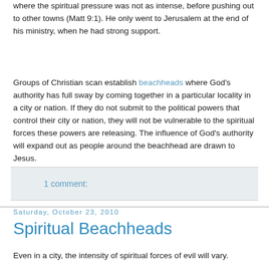where the spiritual pressure was not as intense, before pushing out to other towns (Matt 9:1). He only went to Jerusalem at the end of his ministry, when he had strong support.
Groups of Christian scan establish beachheads where God's authority has full sway by coming together in a particular locality in a city or nation. If they do not submit to the political powers that control their city or nation, they will not be vulnerable to the spiritual forces these powers are releasing. The influence of God's authority will expand out as people around the beachhead are drawn to Jesus.
1 comment:
Saturday, October 23, 2010
Spiritual Beachheads
Even in a city, the intensity of spiritual forces of evil will vary.
When Christians go to a new city to establish a new church...